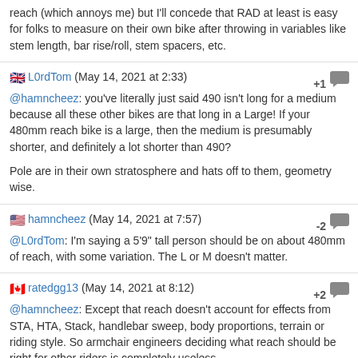reach (which annoys me) but I'll concede that RAD at least is easy for folks to measure on their own bike after throwing in variables like stem length, bar rise/roll, stem spacers, etc.
🇬🇧 L0rdTom (May 14, 2021 at 2:33) +1
@hamncheez: you've literally just said 490 isn't long for a medium because all these other bikes are that long in a Large! If your 480mm reach bike is a large, then the medium is presumably shorter, and definitely a lot shorter than 490?

Pole are in their own stratosphere and hats off to them, geometry wise.
🇺🇸 hamncheez (May 14, 2021 at 7:57) -2
@L0rdTom: I'm saying a 5'9" tall person should be on about 480mm of reach, with some variation. The L or M doesn't matter.
🇨🇦 ratedgg13 (May 14, 2021 at 8:12) +2
@hamncheez: Except that reach doesn't account for effects from STA, HTA, Stack, handlebar sweep, body proportions, terrain or riding style. So armchair engineers deciding what reach should be right for other riders is completely useless.